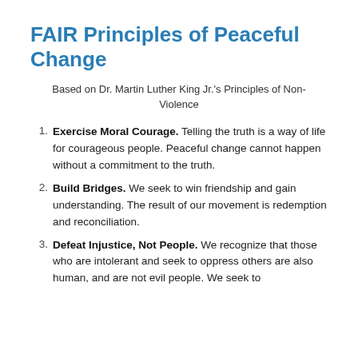FAIR Principles of Peaceful Change
Based on Dr. Martin Luther King Jr.'s Principles of Non-Violence
Exercise Moral Courage. Telling the truth is a way of life for courageous people. Peaceful change cannot happen without a commitment to the truth.
Build Bridges. We seek to win friendship and gain understanding. The result of our movement is redemption and reconciliation.
Defeat Injustice, Not People. We recognize that those who are intolerant and seek to oppress others are also human, and are not evil people. We seek to